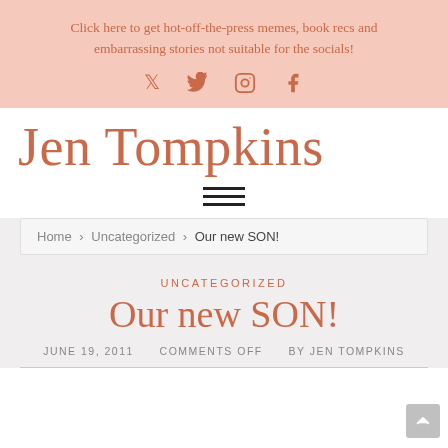Click here to get hot-off-the-press memes, book recs and embarrassing stories not suitable for the socials!
Jen Tompkins
[Figure (other): Hamburger/navigation menu icon — three horizontal lines]
Home › Uncategorized › Our new SON!
UNCATEGORIZED
Our new SON!
JUNE 19, 2011   COMMENTS OFF   BY JEN TOMPKINS